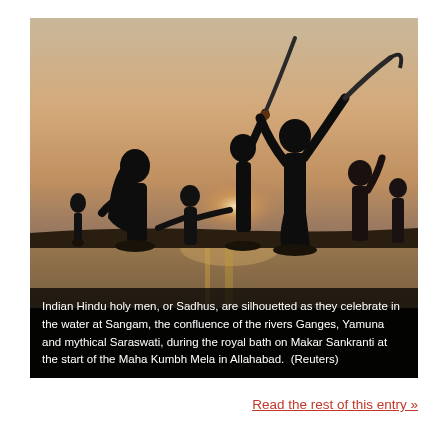[Figure (photo): Silhouetted Indian Hindu holy men (Sadhus) celebrating in water at Sangam at sunset, some holding swords and tools raised in the air, during Makar Sankranti at the start of the Maha Kumbh Mela in Allahabad. The image has a warm orange-brown haze backdrop with figures darkly silhouetted against the reflective water.]
Indian Hindu holy men, or Sadhus, are silhouetted as they celebrate in the water at Sangam, the confluence of the rivers Ganges, Yamuna and mythical Saraswati, during the royal bath on Makar Sankranti at the start of the Maha Kumbh Mela in Allahabad.  (Reuters)
Read the rest of this entry »